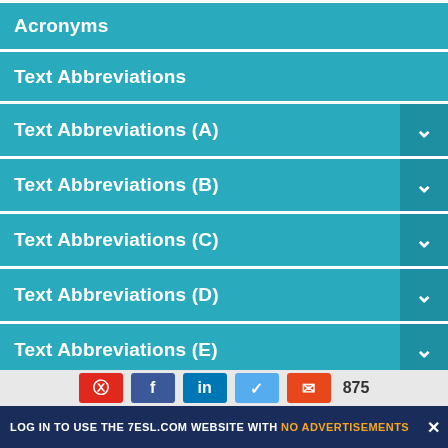Acronyms
Text Abbreviations
Text Abbreviations (A)
Text Abbreviations (B)
Text Abbreviations (C)
Text Abbreviations (D)
Text Abbreviations (E)
Text Abbreviations (F)
Text Abbreviations (G)
Text Abbreviations (H)
LOG IN TO USE THE 7ESL.COM WEBSITE WITH NO ADVERTISEMENTS